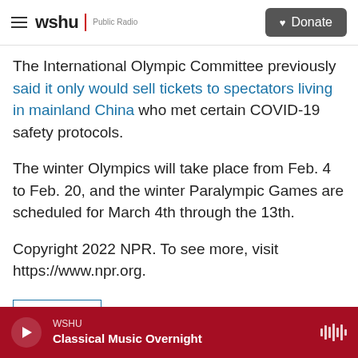wshu Public Radio | Donate
The International Olympic Committee previously said it only would sell tickets to spectators living in mainland China who met certain COVID-19 safety protocols.
The winter Olympics will take place from Feb. 4 to Feb. 20, and the winter Paralympic Games are scheduled for March 4th through the 13th.
Copyright 2022 NPR. To see more, visit https://www.npr.org.
NPR News
WSHU Classical Music Overnight